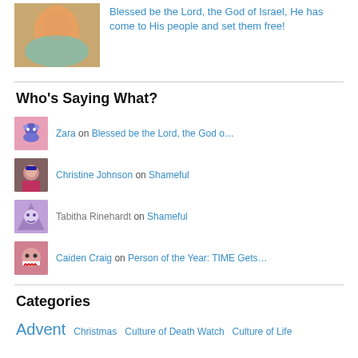Blessed be the Lord, the God of Israel, He has come to His people and set them free!
Who's Saying What?
Zara on Blessed be the Lord, the God o…
Christine Johnson on Shameful
Tabitha Rinehardt on Shameful
Caiden Craig on Person of the Year: TIME Gets…
Categories
Advent  Christmas  Culture of Death Watch  Culture of Life